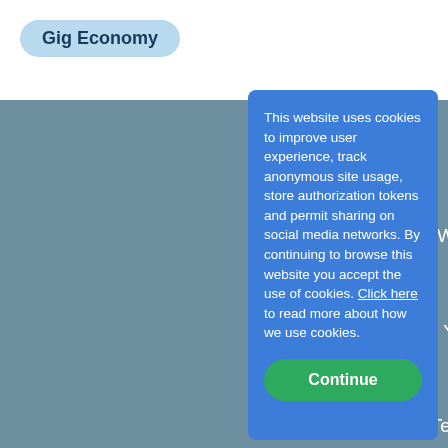Gig Economy
Back to
Home
What Is JD
Subscr
Leverage Your Thou
Privacy P
Terms & Co
Conta
Team
This website uses cookies to improve user experience, track anonymous site usage, store authorization tokens and permit sharing on social media networks. By continuing to browse this website you accept the use of cookies. Click here to read more about how we use cookies.
Continue